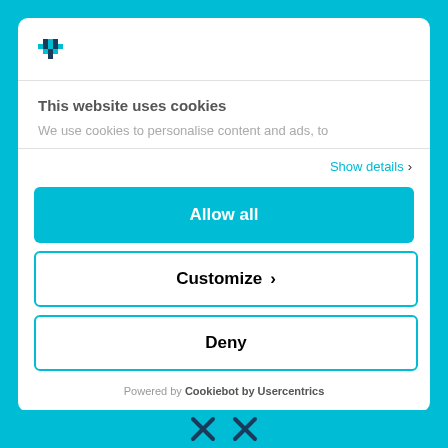[Figure (logo): Diamond-shaped logo icon with blue geometric pattern]
This website uses cookies
We use cookies to personalise content and ads, to
Show details
Allow all
Customize
Deny
Powered by Cookiebot by Usercentrics